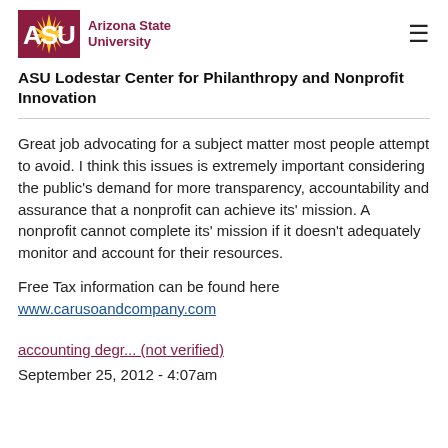ASU Arizona State University
ASU Lodestar Center for Philanthropy and Nonprofit Innovation
Great job advocating for a subject matter most people attempt to avoid. I think this issues is extremely important considering the public's demand for more transparency, accountability and assurance that a nonprofit can achieve its' mission. A nonprofit cannot complete its' mission if it doesn't adequately monitor and account for their resources.
Free Tax information can be found here
www.carusoandcompany.com
accounting degr... (not verified)
September 25, 2012 - 4:07am